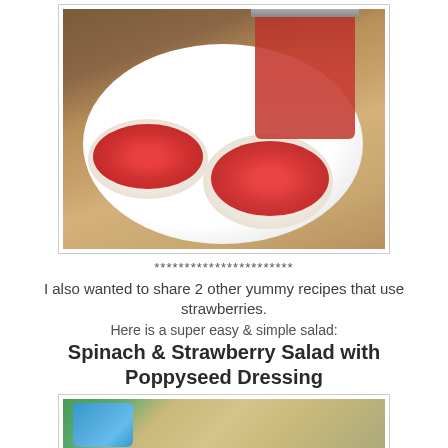[Figure (photo): Photo of two biscuits topped with red strawberry jam on a white plate, with a jar of strawberry jam in the background, on a granite countertop.]
***********************
I also wanted to share 2 other yummy recipes that use strawberries.
Here is a super easy & simple salad:
Spinach & Strawberry Salad with Poppyseed Dressing
[Figure (photo): Bottom portion of a photo showing a blue bag of spinach and a wooden cutting board, partially cut off.]